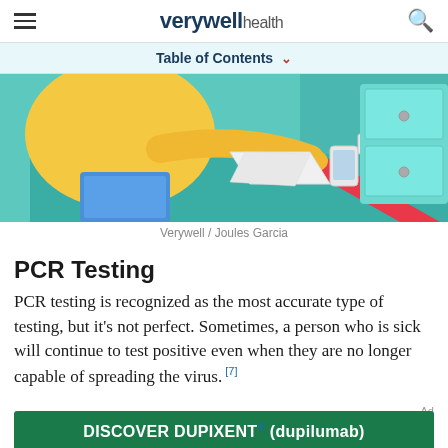verywell health
Table of Contents
[Figure (illustration): Illustration of a person in yellow sitting at a teal desk with papers and a phone, resembling a medical testing scenario. Art credit: Verywell / Joules Garcia]
Verywell / Joules Garcia
PCR Testing
PCR testing is recognized as the most accurate type of testing, but it's not perfect. Sometimes, a person who is sick will continue to test positive even when they are no longer capable of spreading the virus. [7]
DISCOVER DUPIXENT® (dupilumab)